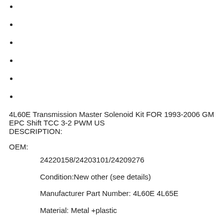4L60E Transmission Master Solenoid Kit FOR 1993-2006 GM EPC Shift TCC 3-2 PWM US
DESCRIPTION:
OEM:
24220158/24203101/24209276
Condition:New other (see details)
Manufacturer Part Number: 4L60E 4L65E
Material: Metal +plastic
Color: Shown as picture
Fitment: Fit for GM